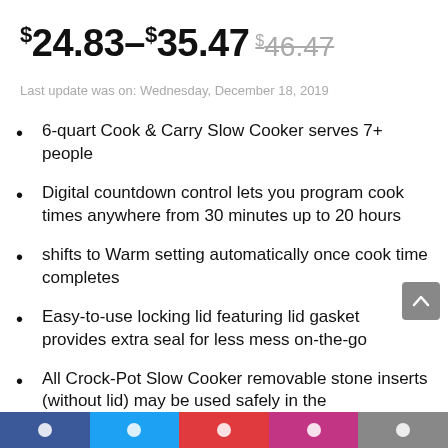$24.83–$35.47 $46.47
Last update was on: Wednesday, December 18, 2019
6-quart Cook & Carry Slow Cooker serves 7+ people
Digital countdown control lets you program cook times anywhere from 30 minutes up to 20 hours
shifts to Warm setting automatically once cook time completes
Easy-to-use locking lid featuring lid gasket provides extra seal for less mess on-the-go
All Crock-Pot Slow Cooker removable stone inserts (without lid) may be used safely in the